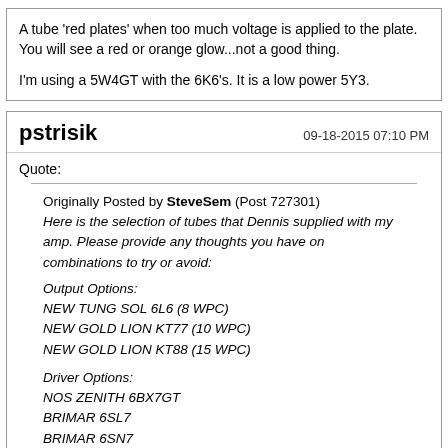A tube 'red plates' when too much voltage is applied to the plate. You will see a red or orange glow...not a good thing.

I'm using a 5W4GT with the 6K6's. It is a low power 5Y3.
pstrisik
09-18-2015 07:10 PM
Quote:
Originally Posted by SteveSem (Post 727301)
Here is the selection of tubes that Dennis supplied with my amp. Please provide any thoughts you have on combinations to try or avoid:

Output Options:
NEW TUNG SOL 6L6 (8 WPC)
NEW GOLD LION KT77 (10 WPC)
NEW GOLD LION KT88 (15 WPC)

Driver Options:
NOS ZENITH 6BX7GT
BRIMAR 6SL7
BRIMAR 6SN7

The rectifier is a NOS WESTINGHOUSE 5U4G
Thanks!